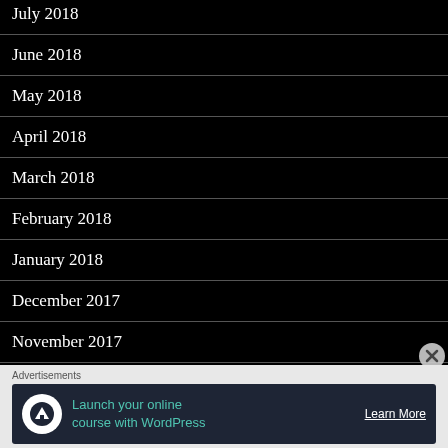July 2018
June 2018
May 2018
April 2018
March 2018
February 2018
January 2018
December 2017
November 2017
October 2017
September 2017
Advertisements
[Figure (other): Advertisement banner: Launch your online course with WordPress. Learn More button. Dark navy background with teal icon.]